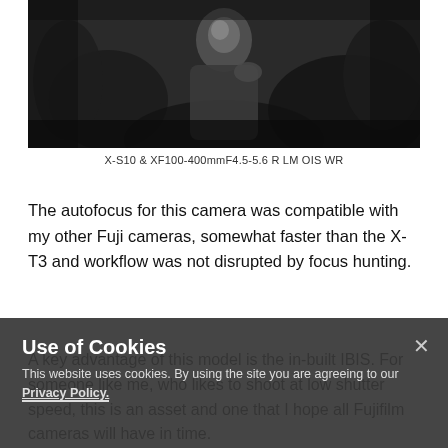[Figure (photo): Black and white photograph of a woman in dark clothing, likely taken with X-S10 & XF100-400mmF4.5-5.6 R LM OIS WR lens]
X-S10 & XF100-400mmF4.5-5.6 R LM OIS WR
The autofocus for this camera was compatible with my other Fuji cameras, somewhat faster than the X-T3 and workflow was not disrupted by focus hunting.
A key advantage of this model is the in-built IBIS. For someone like me, who likes to shoot at low shutter speed, this is an asset and one that I hope all Fujifilm cameras will have in time.
Use of Cookies
This website uses cookies. By using the site you are agreeing to our Privacy Policy.